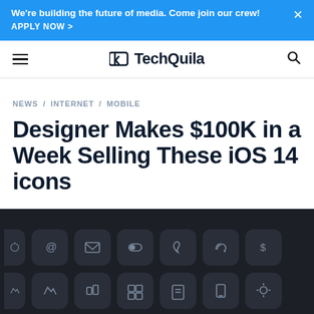We're building the future of media. Come join our crew! APPLY NOW >
TechQuila
NEWS / INTERNET / MOBILE
Designer Makes $100K in a Week Selling These iOS 14 icons
[Figure (illustration): Dark background grid of iOS 14 icon thumbnails showing various app icons with symbols including at-sign, mail, toggle, leaf, cloud, dollar, and more on dark rounded square backgrounds]